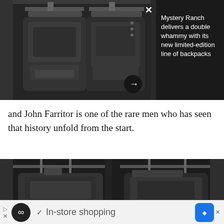[Figure (photo): Two dark camouflage military backpacks displayed side-by-side in a dark display case/locker setting]
Mystery Ranch delivers a double whammy with its new limited-edition line of backpacks
and John Farritor is one of the rare men who has seen that history unfold from the start.
[Figure (photo): Close-up view of two dark camouflage backpacks hanging on a rack or rail in a display case]
✓  In-store shopping